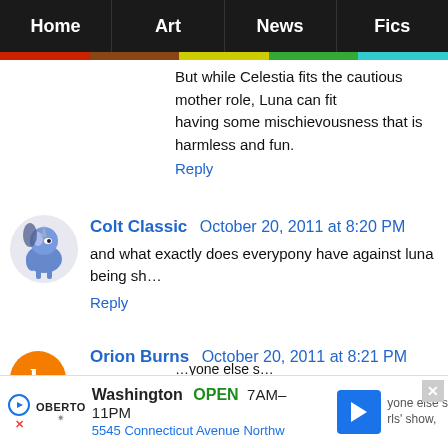Home | Art | News | Fics
But while Celestia fits the cautious mother role, Luna can fit having some mischievousness that is harmless and fun.
Reply
Colt Classic  October 20, 2011 at 8:20 PM
and what exactly does everypony have against luna being sh…
Reply
Orion Burns  October 20, 2011 at 8:21 PM
I hope she will be the complete opposite of Celestia's canon p…

In other words, I'm hoping for Luna to be a G-rated versio… Metal Jacket.

In other, other words, I'm hoping that she will be stern, exa… that she won't take any shit from anyone.
Washington OPEN 7AM–11PM 5545 Connecticut Avenue Northw
…yone else s…
…rls' show,
darkness and night because she'd be the complete oppos…